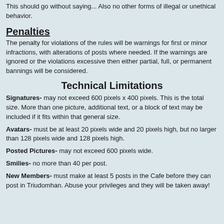This should go without saying... Also no other forms of illegal or unethical behavior.
Penalties
The penalty for violations of the rules will be warnings for first or minor infractions, with alterations of posts where needed. If the warnings are ignored or the violations excessive then either partial, full, or permanent bannings will be considered.
Technical Limitations
Signatures- may not exceed 600 pixels x 400 pixels. This is the total size. More than one picture, additional text, or a block of text may be included if it fits within that general size.
Avatars- must be at least 20 pixels wide and 20 pixels high, but no larger than 128 pixels wide and 128 pixels high.
Posted Pictures- may not exceed 600 pixels wide.
Smilies- no more than 40 per post.
New Members- must make at least 5 posts in the Cafe before they can post in Triudomhan. Abuse your privileges and they will be taken away!